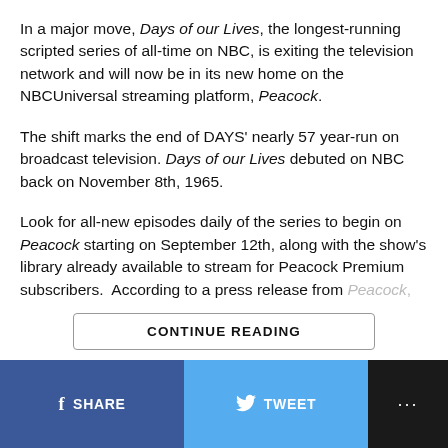In a major move, Days of our Lives, the longest-running scripted series of all-time on NBC, is exiting the television network and will now be in its new home on the NBCUniversal streaming platform, Peacock.
The shift marks the end of DAYS' nearly 57 year-run on broadcast television. Days of our Lives debuted on NBC back on November 8th, 1965.
Look for all-new episodes daily of the series to begin on Peacock starting on September 12th, along with the show's library already available to stream for Peacock Premium subscribers.  According to a press release from Peacock, "The historic move to Peacock creates the [faded/truncated content]